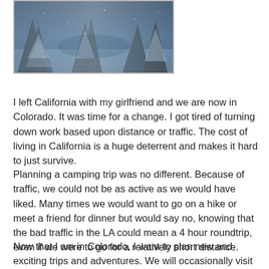[Figure (photo): Snowy winter forest scene with dark evergreen trees covered in snow, blue-tinted light]
I left California with my girlfriend and we are now in Colorado.  It was time for a change.  I got tired of turning down work based upon distance or traffic.  The cost of living in California is a huge deterrent and makes it hard to just survive.
Planning a camping trip was no different.  Because of traffic, we could not be as active as we would have liked.  Many times we would want to go on a hike or meet a friend for dinner but would say no, knowing that the bad traffic in the LA could mean a 4 hour roundtrip, even if we were to go for a relatively short distance.
Now that I am in Colorado, I want to plan new and exciting trips and adventures.  We will occasionally visit California for camping or wine festivals; however Camping Fantastic is now primarily based in Colorado.  This is an exciting change because it means many new discoveries for us that I look forward to sharing with my audience.  I